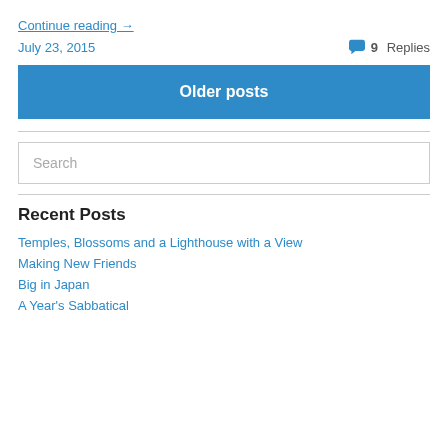Continue reading →
July 23, 2015    9 Replies
Older posts
Search
Recent Posts
Temples, Blossoms and a Lighthouse with a View
Making New Friends
Big in Japan
A Year's Sabbatical